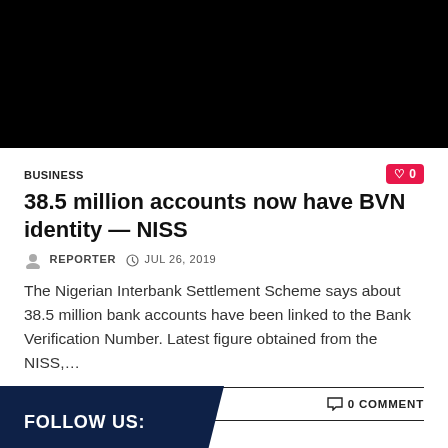[Figure (photo): Black image block at top of article]
BUSINESS
38.5 million accounts now have BVN identity — NISS
REPORTER  JUL 26, 2019
The Nigerian Interbank Settlement Scheme says about 38.5 million bank accounts have been linked to the Bank Verification Number. Latest figure obtained from the NISS,...
READ MORE   0 COMMENT
FOLLOW US: